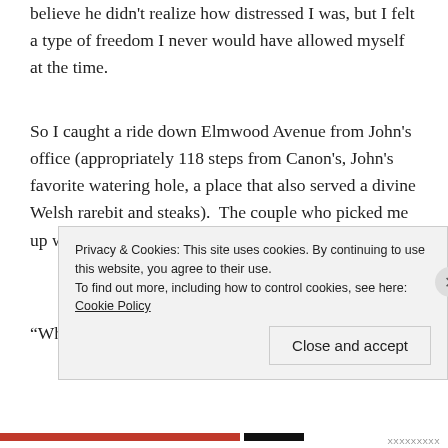believe he didn't realize how distressed I was, but I felt a type of freedom I never would have allowed myself at the time.
So I caught a ride down Elmwood Avenue from John's office (appropriately 118 steps from Canon's, John's favorite watering hole, a place that also served a divine Welsh rarebit and steaks).  The couple who picked me up was young.
“Where you headed young man?” he asked as the car
Privacy & Cookies: This site uses cookies. By continuing to use this website, you agree to their use.
To find out more, including how to control cookies, see here: Cookie Policy
Close and accept